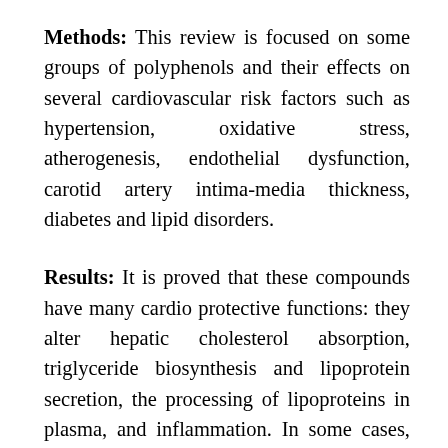Methods: This review is focused on some groups of polyphenols and their effects on several cardiovascular risk factors such as hypertension, oxidative stress, atherogenesis, endothelial dysfunction, carotid artery intima-media thickness, diabetes and lipid disorders.
Results: It is proved that these compounds have many cardio protective functions: they alter hepatic cholesterol absorption, triglyceride biosynthesis and lipoprotein secretion, the processing of lipoproteins in plasma, and inflammation. In some cases, human long-term studies did not show conclusive results because they lacked in appropriate controls and in an undefined